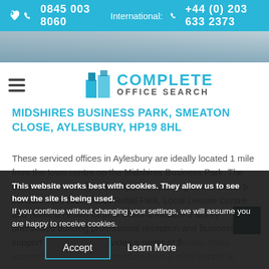0845 003 8060   International: +44 (0) 203 633 2373
[Figure (photo): Photo strip showing office building exterior]
[Figure (logo): Complete Office Search logo with blue building icon]
MIDSHIRES BUSINESS PARK, SMEATON CLOSE, AYLESBURY, HP19 8HL
These serviced offices in Aylesbury are ideally located 1 mile from the town centre on the Midshires Business Park. The centre is car friendly with ample free parking and is within 5 minutes from Broadfields Retail Park. Local Leisure Centre and Nuffield Health Club. It offers a modern 3 storey unbranded building, professional reception and business support services and provides a range of flexible office accommodation to accommodate from 2 to 50 people all
This website works best with cookies. They allow us to see how the site is being used.
If you continue without changing your settings, we will assume you are happy to receive cookies.